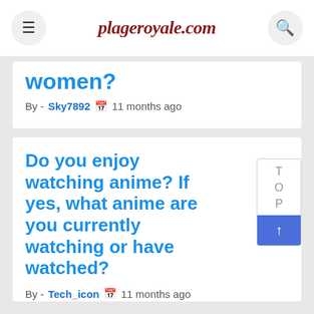plageroyale.com
women?
By - Sky7892   11 months ago
Do you enjoy watching anime? If yes, what anime are you currently watching or have watched?
By - Tech_icon   11 months ago